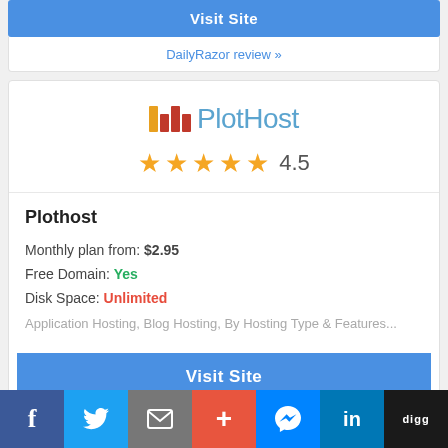Visit Site
DailyRazor review »
[Figure (logo): PlotHost logo with colored bar chart icon and teal text]
★★★★★ 4.5
Plothost
Monthly plan from: $2.95
Free Domain: Yes
Disk Space: Unlimited
Application Hosting, Blog Hosting, By Hosting Type & Features...
Visit Site
Facebook Twitter Email + Messenger LinkedIn digg